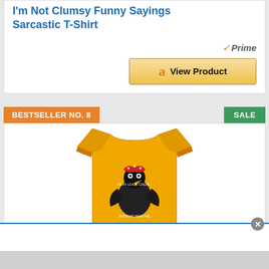I'm Not Clumsy Funny Sayings Sarcastic T-Shirt
[Figure (other): Amazon Prime badge checkmark with 'Prime' text in italic]
[Figure (other): Amazon 'View Product' button with Amazon 'a' logo]
BESTSELLER NO. 8
SALE
[Figure (photo): Yellow t-shirt with cartoon chicken graphic and text 'I may look calm... but in my head I've']